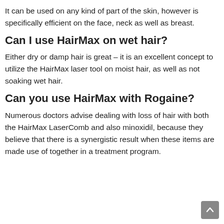It can be used on any kind of part of the skin, however is specifically efficient on the face, neck as well as breast.
Can I use HairMax on wet hair?
Either dry or damp hair is great – it is an excellent concept to utilize the HairMax laser tool on moist hair, as well as not soaking wet hair.
Can you use HairMax with Rogaine?
Numerous doctors advise dealing with loss of hair with both the HairMax LaserComb and also minoxidil, because they believe that there is a synergistic result when these items are made use of together in a treatment program.